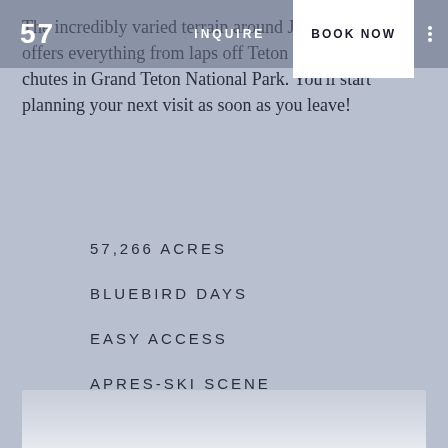57   INQUIRE   BOOK NOW
The incredibly varied terrain around Jackson Hole offers everything from laps off Teton Pass to camping chutes in Grand Teton National Park. You'll start planning your next visit as soon as you leave!
57,266 ACRES
BLUEBIRD DAYS
EASY ACCESS
APRES-SKI SCENE
43°5′ N AND 110°8′ W
[Figure (photo): Bottom edge of a mountain landscape photo, partially visible]